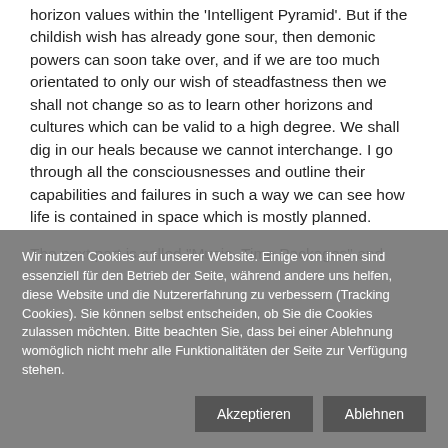horizon values within the 'Intelligent Pyramid'. But if the childish wish has already gone sour, then demonic powers can soon take over, and if we are too much orientated to only our wish of steadfastness then we shall not change so as to learn other horizons and cultures which can be valid to a high degree. We shall dig in our heals because we cannot interchange. I go through all the consciousnesses and outline their capabilities and failures in such a way we can see how life is contained in space which is mostly planned.
The next part is called "Music- Time Packages" and
Wir nutzen Cookies auf unserer Website. Einige von ihnen sind essenziell für den Betrieb der Seite, während andere uns helfen, diese Website und die Nutzererfahrung zu verbessern (Tracking Cookies). Sie können selbst entscheiden, ob Sie die Cookies zulassen möchten. Bitte beachten Sie, dass bei einer Ablehnung womöglich nicht mehr alle Funktionalitäten der Seite zur Verfügung stehen.